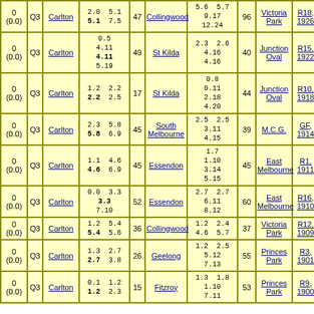| Score | Qtr | Team | Score Detail | Pts | Opponent | Opp Score | Opp Pts | Venue | Round |
| --- | --- | --- | --- | --- | --- | --- | --- | --- | --- |
| 0
(0.0) | Q3 | Carlton | 2.0  5.1
5.1  7.5 | 47 | Collingwood | 5.6  5.7
9.17
12.24 | 96 | Victoria Park | R18, 1926 |
| 0
(0.0) | Q3 | Carlton | 0.5
4.11
4.11
5.19 | 49 | St Kilda | 2.3  2.6
4.16
4.16 | 40 | Junction Oval | R15, 1922 |
| 0
(0.0) | Q3 | Carlton | 1.2  2.2
2.2  2.5 | 17 | St Kilda | 0.8
0.11
2.18
4.20 | 44 | Junction Oval | R10, 1918 |
| 0
(0.0) | Q3 | Carlton | 2.3  5.8
5.8  6.9 | 45 | South Melbourne | 2.5  2.5
3.11
4.15 | 39 | M.C.G. | GF, 1914 |
| 0
(0.0) | Q3 | Carlton | 1.1  4.6
4.6  6.9 | 45 | Essendon | 1.7
1.10
3.14
5.15 | 45 | East Melbourne | R1, 1911 |
| 0
(0.0) | Q3 | Carlton | 0.0  3.3
3.3
7.10 | 52 | Essendon | 2.7  2.7
6.11
8.12 | 60 | East Melbourne | R16, 1910 |
| 0
(0.0) | Q3 | Carlton | 1.2  5.4
5.4  5.6 | 36 | Collingwood | 1.2  2.4
4.6  5.7 | 37 | Victoria Park | R12, 1909 |
| 0
(0.0) | Q3 | Carlton | 1.3  2.7
2.7  3.8 | 26 | Geelong | 1.2  2.5
5.12
7.13 | 55 | Princes Park | R3, 1901 |
| 0
(0.0) | Q3 | Carlton | 0.1  1.2
1.2  2.3 | 15 | Fitzroy | 1.3  1.8
1.10
7.11 | 53 | Princes Park | R9, 1900 |